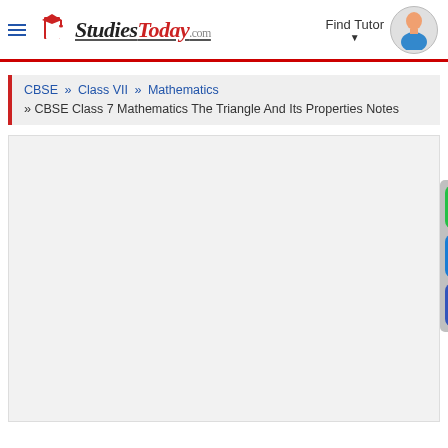StudiesToday.com — Find Tutor
CBSE » Class VII » Mathematics » CBSE Class 7 Mathematics The Triangle And Its Properties Notes
[Figure (screenshot): Empty content area (white/light gray box) below the breadcrumb navigation, with social sharing buttons (WhatsApp, Email, Facebook) on the right side]